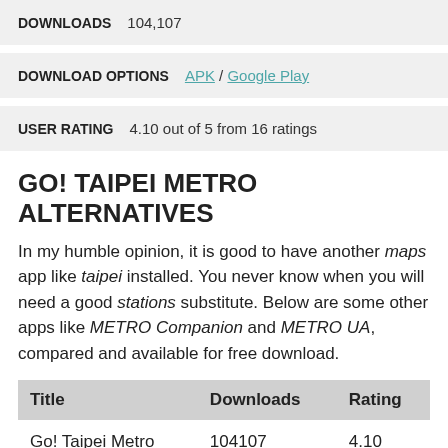DOWNLOADS   104,107
DOWNLOAD OPTIONS   APK / Google Play
USER RATING   4.10 out of 5 from 16 ratings
GO! TAIPEI METRO ALTERNATIVES
In my humble opinion, it is good to have another maps app like taipei installed. You never know when you will need a good stations substitute. Below are some other apps like METRO Companion and METRO UA, compared and available for free download.
| Title | Downloads | Rating |
| --- | --- | --- |
| Go! Taipei Metro | 104107 | 4.10 |